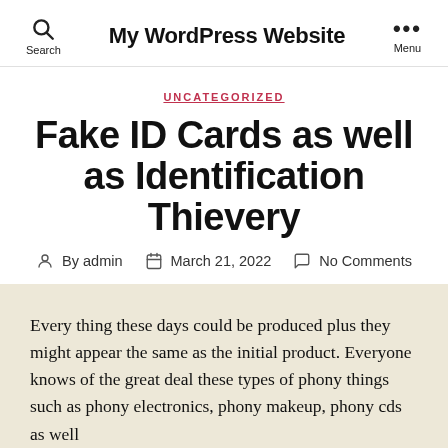My WordPress Website
UNCATEGORIZED
Fake ID Cards as well as Identification Thievery
By admin  March 21, 2022  No Comments
Every thing these days could be produced plus they might appear the same as the initial product. Everyone knows of the great deal these types of phony things such as phony electronics, phony makeup, phony cds as well